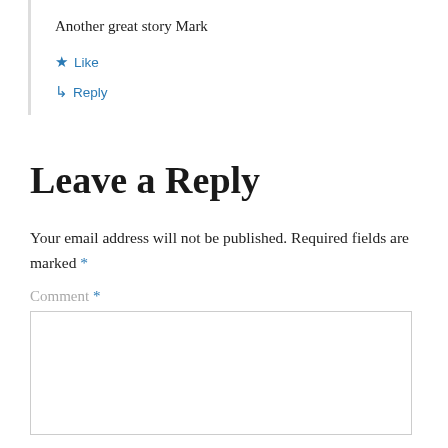Another great story Mark
★ Like
↳ Reply
Leave a Reply
Your email address will not be published. Required fields are marked *
Comment *